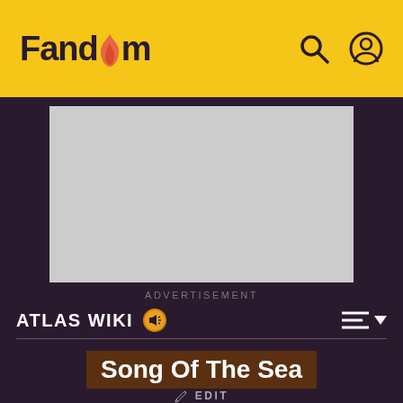Fandom
[Figure (screenshot): Advertisement placeholder — gray rectangle with ADVERTISEMENT label below]
ATLAS WIKI
Song Of The Sea
EDIT
[Figure (illustration): Bottom portion showing a character figure against a diagonal pink and dark stripe pattern background]